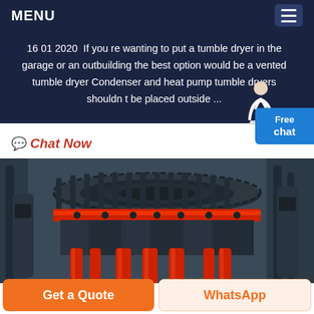MENU
16 01 2020  If you re wanting to put a tumble dryer in the garage or an outbuilding the best option would be a vented tumble dryer Condenser and heat pump tumble dryers shouldn t be placed outside ...
Chat Now
[Figure (photo): Close-up photo of a large industrial crushing machine with dark grey/black metal body, red ring/band around the middle section, multiple red hydraulic cylinders at the base, and various mechanical components visible.]
Get a Quote
WhatsApp